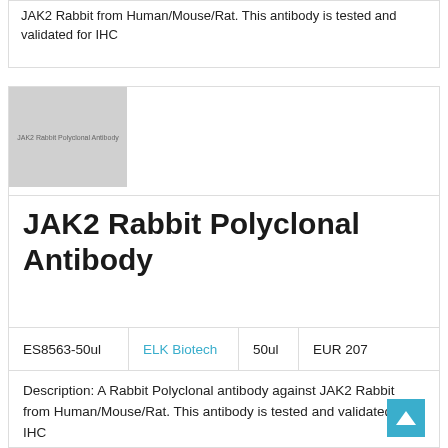JAK2 Rabbit from Human/Mouse/Rat. This antibody is tested and validated for IHC
[Figure (photo): Product image placeholder for JAK2 Rabbit Polyclonal Antibody, gray rectangle with label text]
JAK2 Rabbit Polyclonal Antibody
| Catalog | Brand | Volume | Price |
| --- | --- | --- | --- |
| ES8563-50ul | ELK Biotech | 50ul | EUR 207 |
Description: A Rabbit Polyclonal antibody against JAK2 Rabbit from Human/Mouse/Rat. This antibody is tested and validated for IHC